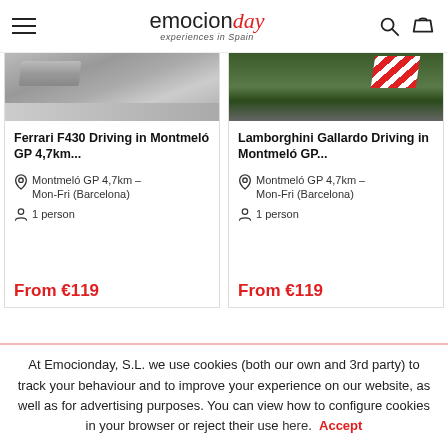emocionday - experiences in Spain
[Figure (photo): Ferrari F430 driving on Montmeló GP circuit track, grey asphalt]
Ferrari F430 Driving in Montmeló GP 4,7km...
Montmeló GP 4,7km - Mon-Fri (Barcelona)
1 person
From €119
[Figure (photo): Lamborghini Gallardo driving on Montmeló GP circuit, green grass and red-white barriers visible]
Lamborghini Gallardo Driving in Montmeló GP...
Montmeló GP 4,7km - Mon-Fri (Barcelona)
1 person
From €119
At Emocionday, S.L. we use cookies (both our own and 3rd party) to track your behaviour and to improve your experience on our website, as well as for advertising purposes. You can view how to configure cookies in your browser or reject their use here. Accept